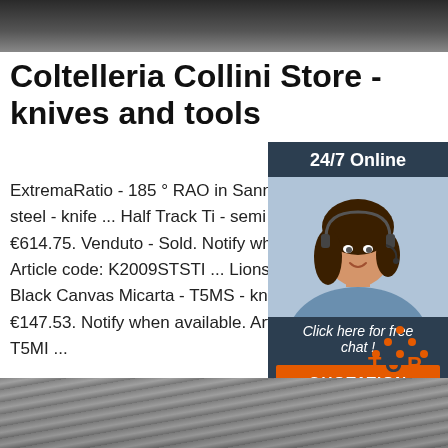[Figure (photo): Dark metallic surface, top banner image]
Coltelleria Collini Store - knives and tools
ExtremaRatio - 185 ° RAO in Sanmai Ja steel - knife ... Half Track Ti - semi custo €614.75. Venduto - Sold. Notify when av Article code: K2009STSTI ... Lionsteel - Black Canvas Micarta - T5MS - knife 2 R €147.53. Notify when available. Article co T5MI ...
[Figure (photo): Customer support agent - woman with headset smiling, 24/7 Online chat widget sidebar with QUOTATION button]
[Figure (other): TOP logo with orange dots forming a triangle above the word TOP]
[Figure (photo): Industrial wire coils in a warehouse, bottom banner image]
Get Price